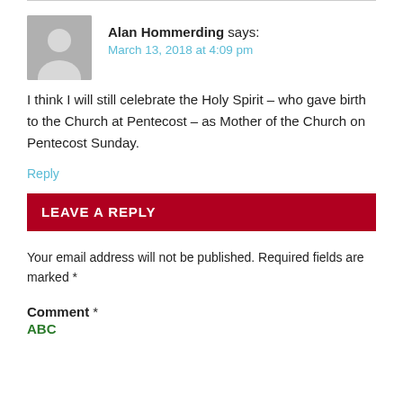Alan Hommerding says:
March 13, 2018 at 4:09 pm
I think I will still celebrate the Holy Spirit – who gave birth to the Church at Pentecost – as Mother of the Church on Pentecost Sunday.
Reply
LEAVE A REPLY
Your email address will not be published. Required fields are marked *
Comment *
ABC